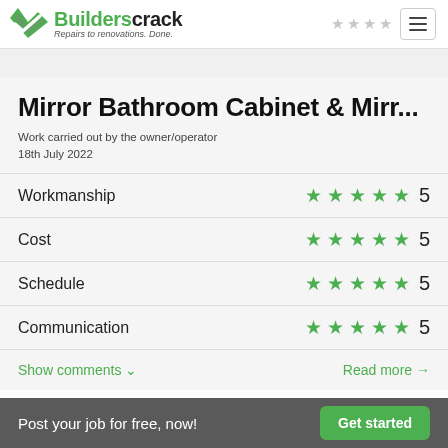Builderscrack – Repairs to renovations. Done.
Mirror Bathroom Cabinet & Mirr...
Work carried out by the owner/operator
18th July 2022
| Category | Rating | Score |
| --- | --- | --- |
| Workmanship | ★★★★★ | 5 |
| Cost | ★★★★★ | 5 |
| Schedule | ★★★★★ | 5 |
| Communication | ★★★★★ | 5 |
Show comments ↓    Read more →
Post your job for free, now!  Get started